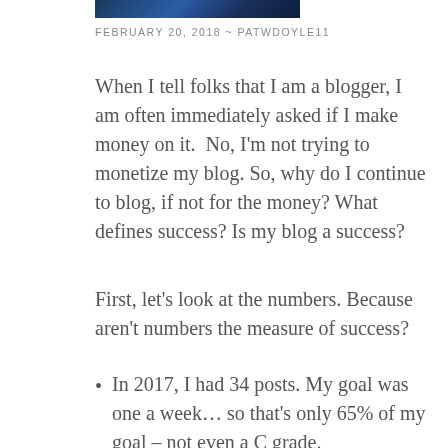[Figure (photo): Partial image strip showing a dark blue gradient image at the top of the page]
FEBRUARY 20, 2018  ~  PATWDOYLE11
When I tell folks that I am a blogger, I am often immediately asked if I make money on it.  No, I'm not trying to monetize my blog. So, why do I continue to blog, if not for the money? What defines success? Is my blog a success?
First, let's look at the numbers. Because aren't numbers the measure of success?
In 2017, I had 34 posts. My goal was one a week… so that's only 65% of my goal – not even a C grade.